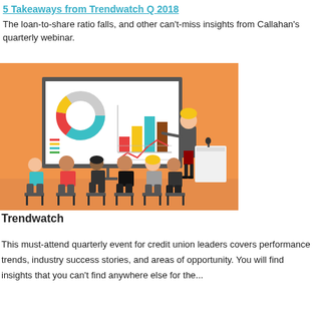5 Takeaways from Trendwatch Q 2018
The loan-to-share ratio falls, and other can't-miss insights from Callahan's quarterly webinar.
[Figure (illustration): Illustration of a business presentation scene with an orange background. A presenter (woman with blonde hair, business attire) stands at a podium pointing to a projection screen showing charts (donut chart, bar chart, line chart). Several audience members are seated in chairs facing the screen.]
Trendwatch
This must-attend quarterly event for credit union leaders covers performance trends, industry success stories, and areas of opportunity. You will find insights that you can't find anywhere else for the...